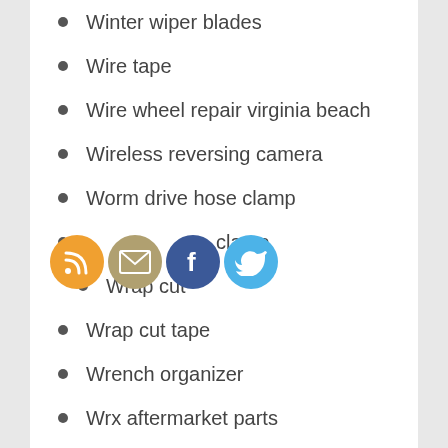Winter wiper blades
Wire tape
Wire wheel repair virginia beach
Wireless reversing camera
Worm drive hose clamp
Worm gear hose clamp
Wrap cut
Wrap cut tape
Wrench organizer
Wrx aftermarket parts
Wrx performance parts
Yamaha motorcycle parts